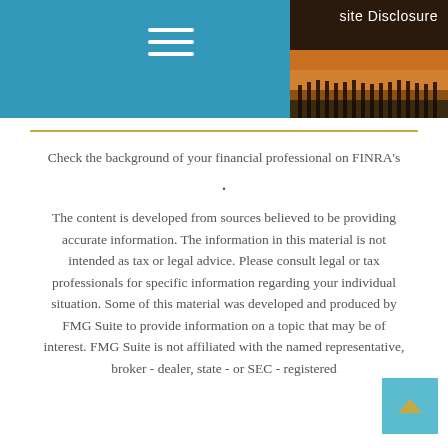[Figure (screenshot): Website header with teal/blue background on left portion showing three horizontal white hamburger menu lines, and a partial sunset/pier photo on the right. Text 'site Disclosure' visible in upper right area on dark background.]
Check the background of your financial professional on FINRA's
.
The content is developed from sources believed to be providing accurate information. The information in this material is not intended as tax or legal advice. Please consult legal or tax professionals for specific information regarding your individual situation. Some of this material was developed and produced by FMG Suite to provide information on a topic that may be of interest. FMG Suite is not affiliated with the named representative, broker - dealer, state - or SEC - registered